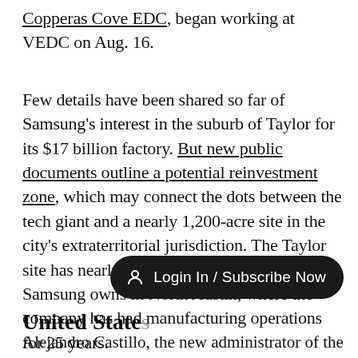Copperas Cove EDC, began working at VEDC on Aug. 16.
Few details have been shared so far of Samsung's interest in the suburb of Taylor for its $17 billion factory. But new public documents outline a potential reinvestment zone, which may connect the dots between the tech giant and a nearly 1,200-acre site in the city's extraterritorial jurisdiction. The Taylor site has nearly twice as many acres as what Samsung owns in North Austin, where the company has had manufacturing operations for 25 years.
[Figure (other): Dark pill-shaped button with user icon and text 'Login In / Subscribe Now']
United States
Alejandro Castillo, the new administrator of the